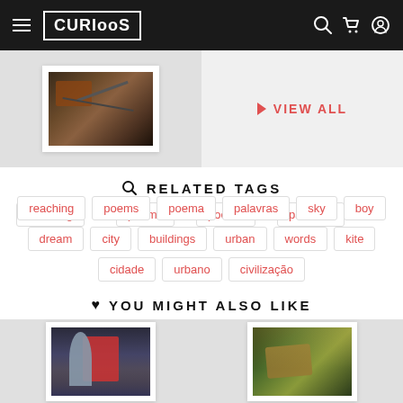CURIOOS — navigation bar with hamburger menu, logo, search, cart, and account icons
[Figure (photo): Product card showing a dark illustrated artwork with junk/machinery]
VIEW ALL
RELATED TAGS
reaching
poems
poema
palavras
sky
boy
dream
city
buildings
urban
words
kite
cidade
urbano
civilização
YOU MIGHT ALSO LIKE
[Figure (photo): Product card showing a dark fantasy warrior artwork]
[Figure (photo): Product card showing a forest scene artwork]